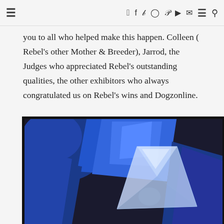≡  f  𝕏  ◎  𝒫  ▶  ✉  ≡  🔍
you to all who helped make this happen. Colleen ( Rebel's other Mother & Breeder), Jarrod, the Judges who appreciated Rebel's outstanding qualities, the other exhibitors who always congratulated us on Rebel's wins and Dogzonline.
[Figure (photo): A crystal glass trophy/award sitting on blue satin fabric inside a dark presentation box. The crystal piece is triangular/diamond shaped and appears to have an engraved image on it.]